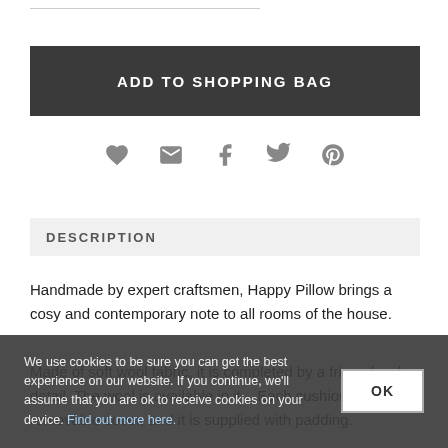ADD TO SHOPPING BAG
[Figure (other): Social sharing icons: heart (wishlist), email, Facebook, Twitter, Pinterest]
DESCRIPTION
Handmade by expert craftsmen, Happy Pillow brings a cosy and contemporary note to all rooms of the house.
Made of soft wool fabric, it is completed by a fringe border detail. The wool is available in it... Each cushion has a removable cover, and it is supplied with padding.
We use cookies to be sure you can get the best experience on our website. If you continue, we'll assume that you are ok to receive cookies on your device. Find out more here.